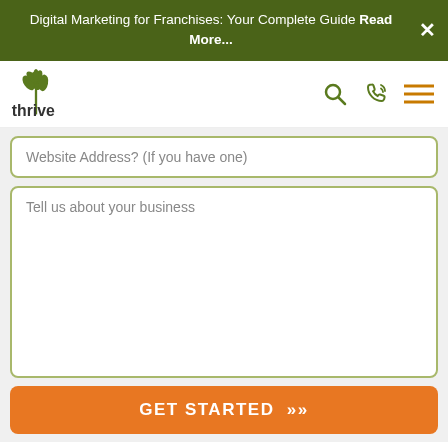Digital Marketing for Franchises: Your Complete Guide Read More...
[Figure (logo): Thrive Internet Marketing Agency logo with green leaf/sprout icon and 'thrive' text in dark grey]
Website Address? (If you have one)
Tell us about your business
GET STARTED >>